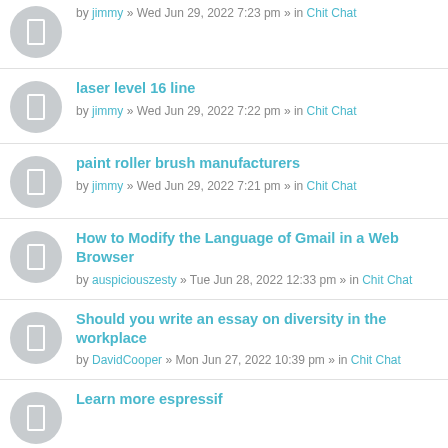by jimmy » Wed Jun 29, 2022 7:23 pm » in Chit Chat
laser level 16 line
by jimmy » Wed Jun 29, 2022 7:22 pm » in Chit Chat
paint roller brush manufacturers
by jimmy » Wed Jun 29, 2022 7:21 pm » in Chit Chat
How to Modify the Language of Gmail in a Web Browser
by auspiciouszesty » Tue Jun 28, 2022 12:33 pm » in Chit Chat
Should you write an essay on diversity in the workplace
by DavidCooper » Mon Jun 27, 2022 10:39 pm » in Chit Chat
Learn more espressif